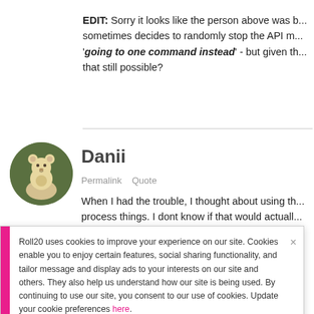EDIT: Sorry it looks like the person above was b... sometimes decides to randomly stop the API m... 'going to one command instead' - but given th... that still possible?
Danii
Permalink   Quote
When I had the trouble, I thought about using th... process things. I dont know if that would actuall...
Roll20 uses cookies to improve your experience on our site. Cookies enable you to enjoy certain features, social sharing functionality, and tailor message and display ads to your interests on our site and others. They also help us understand how our site is being used. By continuing to use our site, you consent to our use of cookies. Update your cookie preferences here.
Danii! - I tried the same thing! - But got super c...